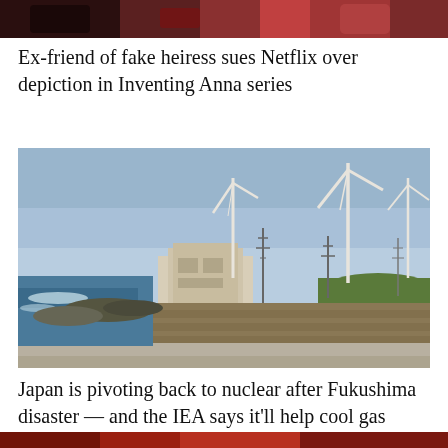[Figure (photo): Partial view of a photo at the top of the page, showing what appears to be a person with red flowers, cropped]
Ex-friend of fake heiress sues Netflix over depiction in Inventing Anna series
[Figure (photo): Coastal industrial landscape with wind turbines and what appears to be a nuclear power plant, with ocean waves and a seawall visible in the foreground, blue sky background]
Japan is pivoting back to nuclear after Fukushima disaster — and the IEA says it'll help cool gas markets
[Figure (photo): Partial view of a photo at the bottom of the page, cropped, showing reddish tones]